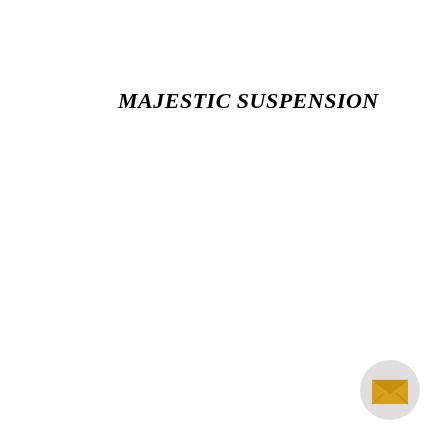MAJESTIC SUSPENSION
[Figure (illustration): A circular button/icon with a light gray background containing a golden/yellow envelope icon in the center, positioned in the bottom-right corner of the page.]